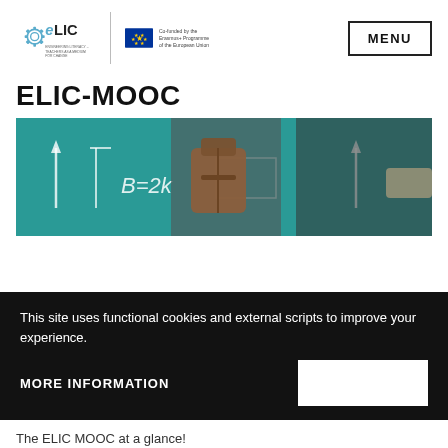[Figure (logo): ELIC logo with gear icon and text 'ENGINEERING LITERACY – TEACHERS AS A MEDIUM FOR CHANGE', alongside EU co-funded programme flag and text]
ELIC-MOOC
[Figure (photo): Hero image showing a teacher or person in front of a green chalkboard with mathematical equations, holding a brown leather bag]
This site uses functional cookies and external scripts to improve your experience.
MORE INFORMATION
The ELIC MOOC at a glance!